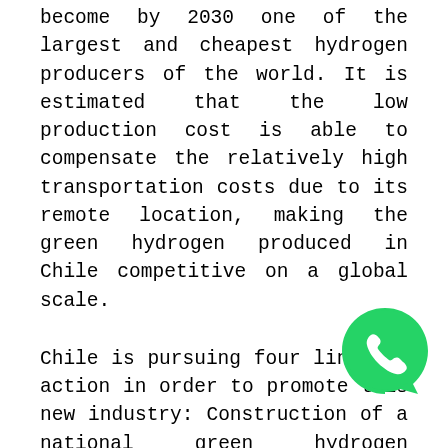become by 2030 one of the largest and cheapest hydrogen producers of the world. It is estimated that the low production cost is able to compensate the relatively high transportation costs due to its remote location, making the green hydrogen produced in Chile competitive on a global scale.
Chile is pursuing four lines of action in order to promote this new industry: Construction of a national green hydrogen strategy, development of safety standards, support for early projects, and international cooperation. Various public and private initiatives and pilots are already underway in Chile, such as the private project Haru Oni in the far south of Chile using wind power to produce hydrogen, which is turned into synthetic
[Figure (logo): WhatsApp logo icon — green circle with white phone handset]